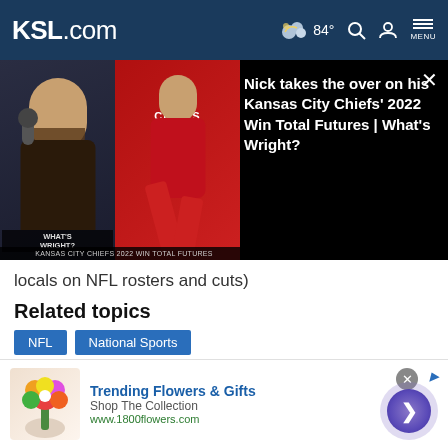KSL.com  84°  MENU
[Figure (screenshot): Video thumbnail showing two people - a man at a microphone and Patrick Mahomes in a Chiefs jersey - with overlay text 'Nick takes the over on his Kansas City Chiefs' 2022 Win Total Futures | What's Wright?']
locals on NFL rosters and cuts)
Related topics
NFL
National Sports
Cookie Notice
We use cookies to improve your experience, analyze site traffic, and to personalize content and ads. By continuing to use our site, you consent to our use of cookies. Please visit our Terms of Use and  Privacy Policy for more information
[Figure (screenshot): Advertisement for 1800flowers.com - Trending Flowers & Gifts, Shop The Collection]